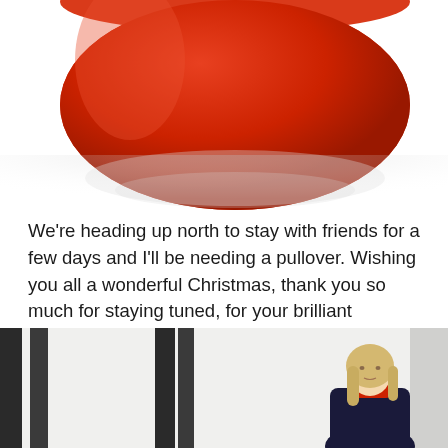[Figure (photo): Close-up of the bottom portion of a red cylindrical object (possibly a candle or container) on a white surface with a soft reflection below it.]
We’re heading up north to stay with friends for a few days and I’ll be needing a pullover. Wishing you all a wonderful Christmas, thank you so much for staying tuned, for your brilliant comments and for buying Style Forever – your continued loyalty is truly appreciated.
[Figure (photo): Street-level outdoor photo showing a woman with long blonde hair wearing a dark jacket and red top, standing in front of a white building with dark vertical architectural elements on either side.]